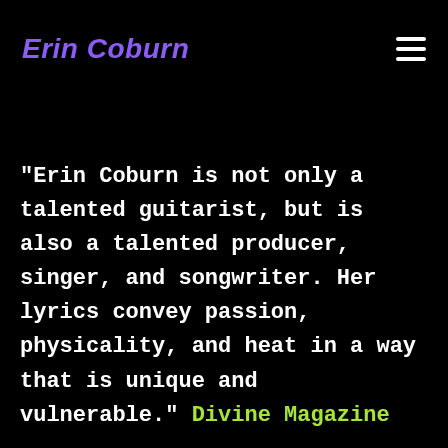Erin Coburn
"Erin Coburn is not only a talented guitarist, but is also a talented producer, singer, and songwriter. Her lyrics convey passion, physicality, and heat in a way that is unique and vulnerable." Divine Magazine